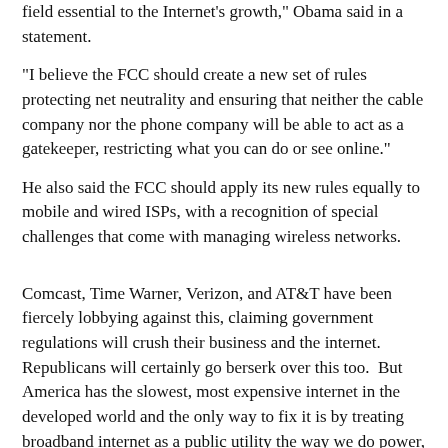field essential to the Internet's growth," Obama said in a statement.
"I believe the FCC should create a new set of rules protecting net neutrality and ensuring that neither the cable company nor the phone company will be able to act as a gatekeeper, restricting what you can do or see online."
He also said the FCC should apply its new rules equally to mobile and wired ISPs, with a recognition of special challenges that come with managing wireless networks.
Comcast, Time Warner, Verizon, and AT&T have been fiercely lobbying against this, claiming government regulations will crush their business and the internet.  Republicans will certainly go berserk over this too.  But America has the slowest, most expensive internet in the developed world and the only way to fix it is by treating broadband internet as a public utility the way we do power,